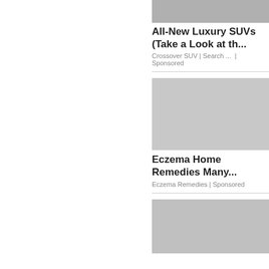[Figure (photo): Partial view of a luxury SUV, cropped at top]
All-New Luxury SUVs (Take a Look at th...
Crossover SUV | Search ...  | Sponsored
[Figure (photo): White spice or powder on a wooden spoon against a gray background]
Eczema Home Remedies Many...
Eczema Remedies | Sponsored
[Figure (photo): Person with glasses, partial view, dark background]